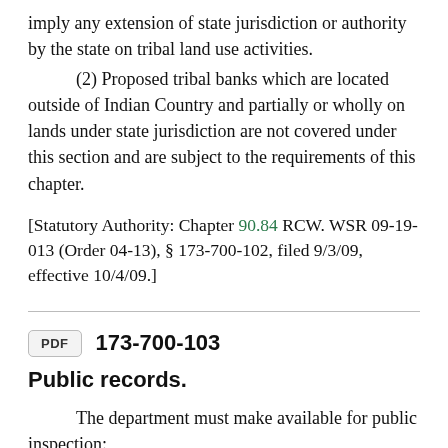imply any extension of state jurisdiction or authority by the state on tribal land use activities.
(2) Proposed tribal banks which are located outside of Indian Country and partially or wholly on lands under state jurisdiction are not covered under this section and are subject to the requirements of this chapter.
[Statutory Authority: Chapter 90.84 RCW. WSR 09-19-013 (Order 04-13), § 173-700-102, filed 9/3/09, effective 10/4/09.]
173-700-103
Public records.
The department must make available for public inspection:
(1) The prospectus;
(2) The final instrument...